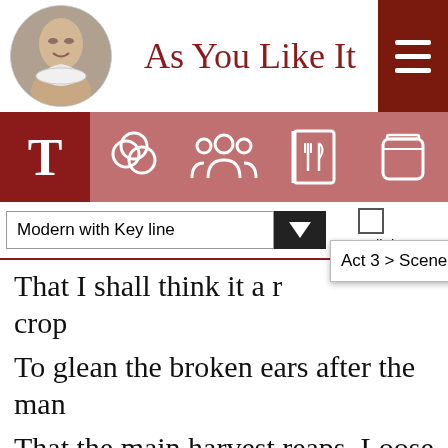As You Like It
[Figure (screenshot): Navigation bar with icons: T (text), rings, people, recipe book, jar]
Modern with Key line
Hyperlinks
Act 3 > Scene 5
That I shall think it a r[ight worthy crop]
To glean the broken ears after the man
That the main harvest reaps. Loose now and then